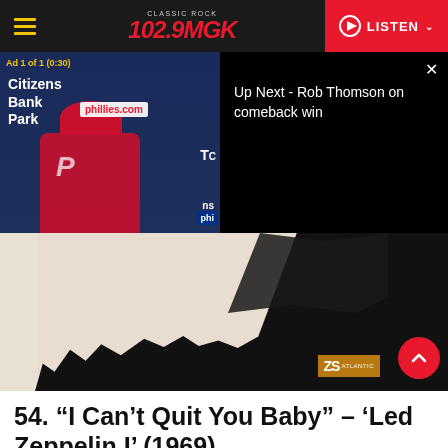102.9 MGK Classic Rock | LISTEN
[Figure (screenshot): Video player showing ad: Citizens Bank Park press conference, with 'Up Next - Rob Thomson on comeback win' panel on the right]
[Figure (photo): Led Zeppelin I album art - high contrast black and cream image with Atlantic Records badge]
54. “I Can’t Quit You Baby” – ‘Led Zeppelin I’ (1969)
Share